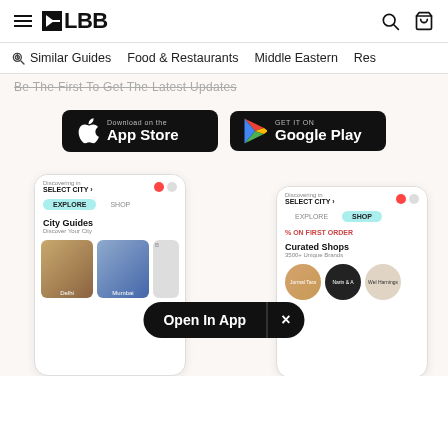LBB
Similar Guides
Food & Restaurants
Middle Eastern
Res...
Be The First To Get The Latest Updates
[Figure (screenshot): App Store download button (black, rounded rectangle) with Apple logo and text 'Download on the App Store']
[Figure (screenshot): Google Play download button (black, rounded rectangle) with Google Play triangle logo and text 'GET IT ON Google Play']
[Figure (screenshot): Two LBB app phone mockups showing City Guides screen with Delhi and Mumbai, and a Shop screen with Curated Shops. An 'Open In App' dark pill button overlaid at the center bottom.]